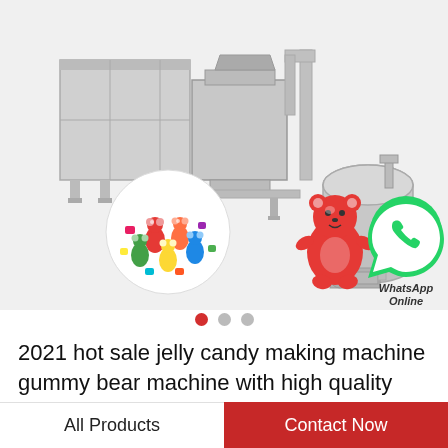[Figure (photo): Industrial gummy bear candy making machine (stainless steel) with conveyor and mixing tank, plus inset images of colorful gummy bears in a circle, a red gummy bear figure, and a green WhatsApp logo with text 'WhatsApp Online']
2021 hot sale jelly candy making machine gummy bear machine with high quality
All Products
Contact Now